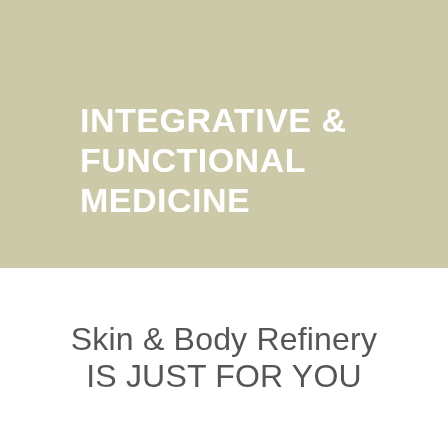[Figure (illustration): Olive/khaki green background rectangle occupying the top portion of the page]
INTEGRATIVE & FUNCTIONAL MEDICINE
Skin & Body Refinery IS JUST FOR YOU